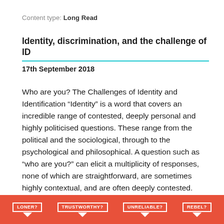Content type: Long Read
Identity, discrimination, and the challenge of ID
17th September 2018
Who are you? The Challenges of Identity and Identification “Identity” is a word that covers an incredible range of contested, deeply personal and highly politicised questions. These range from the political and the sociological, through to the psychological and philosophical. A question such as “who are you?” can elicit a multiplicity of responses, none of which are straightforward, are sometimes highly contextual, and are often deeply contested. However, there is something of an attempt to…
[Figure (infographic): Orange/red banner at the bottom of the page with four white-bordered label boxes each followed by a downward-pointing white arrow: LONER?, TRUSTWORTHY?, UNRELIABLE?, REBEL?]